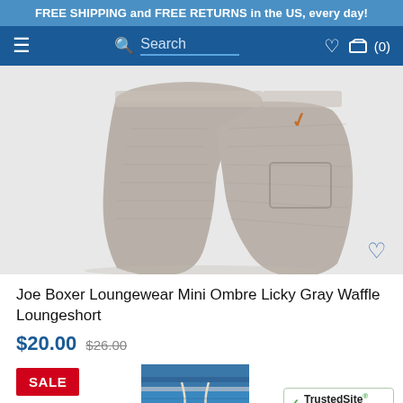FREE SHIPPING and FREE RETURNS in the US, every day!
[Figure (screenshot): Navigation bar with hamburger menu, search bar, heart/wishlist icon, and cart icon showing (0) items on a dark blue background]
[Figure (photo): Gray waffle-texture lounge shorts displayed against white background, showing two legs of the shorts with a small orange logo on the right leg and a back pocket visible]
Joe Boxer Loungewear Mini Ombre Licky Gray Waffle Loungeshort
$20.00 $26.00
SALE
[Figure (photo): Blue lounge shorts with white drawstring, partially visible at the bottom of the page]
[Figure (logo): TrustedSite Certified Secure badge with green checkmark]